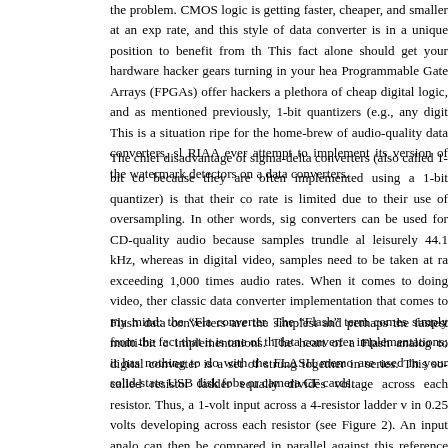the problem. CMOS logic is getting faster, cheaper, and smaller at an exponential rate, and this style of data converter is in a unique position to benefit from this. This fact alone should get your hardware hacker gears turning in your head. Field-Programmable Gate Arrays (FPGAs) offer hackers a plethora of cheap fast digital logic, and as mentioned previously, 1-bit quantizers (e.g., any digital input). This is a situation ripe for the home-brew of audio-quality data converters, should the RIAA ever attempt to implement its version of the watermark detectors on audio-quality data converters.
The chief disadvantage of sigma-delta converters (also called 1-bit converters because they are often implemented using a 1-bit quantizer) is that their conversion rate is limited due to their use of oversampling. In other words, sigma-delta converters can be used for CD-quality audio because samples trundle along at a leisurely 44.1 kHz, whereas in digital video, samples need to be taken at rates exceeding 1,000 times audio rates. When it comes to doing video, there is a classic data converter implementation that comes to my mind: the "Flash" data converter. The "Flash" term comes simply from the fact that it is one of the fastest data converter implementations; it has nothing to do with the FLASH memory chips that are used in your solid-state USB disk fobs or camera CF cards.
Flash data converters are the simplest and perhaps the fastest multi-bit data converter implementations. The heart of a Flash analog to digital converter is a set of resistors strung together in series. This so-called resistor ladder equally divides a reference voltage across each resistor. Thus, a 1-volt input across a 4-resistor ladder will result in 0.25 volts developing across each resistor (see Figure 2). An input analog voltage can then be compared in parallel against this reference voltage ladder using an array of 1-bit quantizers. The resulting digital output is coded in a form